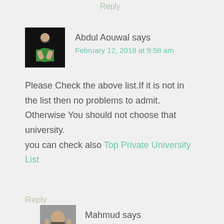Reply
Abdul Aouwal says
February 12, 2018 at 9:58 am
Please Check the above list.If it is not in the list then no problems to admit. Otherwise You should not choose that university.
you can check also Top Private University List
Reply
Mahmud says